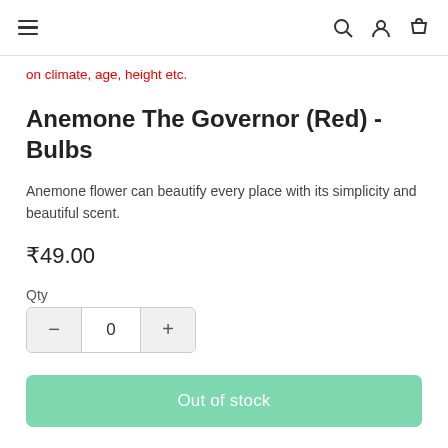navigation bar with hamburger menu, search, user, and cart icons
on climate, age, height etc.
Anemone The Governor (Red) - Bulbs
Anemone flower can beautify every place with its simplicity and beautiful scent.
₹49.00
Qty
- 0 +
Out of stock